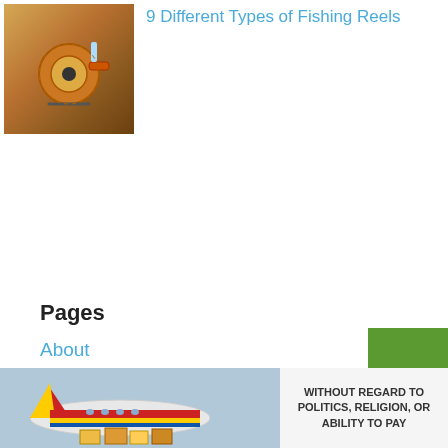[Figure (photo): Thumbnail image of fishing reels/equipment in orange colors on a wooden surface]
9 Different Types of Fishing Reels
Pages
About
Contact
Legal
Privacy Policy
Sitemap
[Figure (photo): Advertisement image showing cargo being loaded onto a Southwest Airlines aircraft, with overlay text 'WITHOUT REGARD TO POLITICS, RELIGION, OR ABILITY TO PAY']